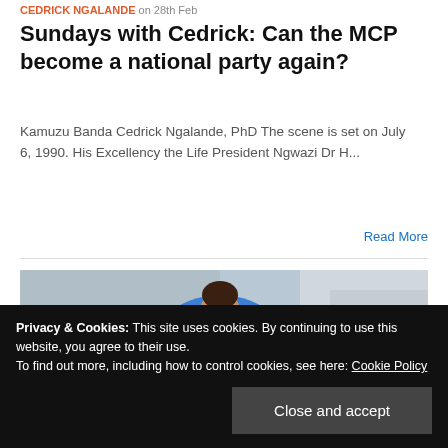CEDRICK NGALANDE on 28th Feb
Sundays with Cedrick: Can the MCP become a national party again?
Kamuzu Banda Cedrick Ngalande, PhD The scene is set on July 6, 1990. His Excellency the Life President Ngwazi Dr H...
Read More
[Figure (photo): Person wearing a blue patterned shirt and face mask, holding a card with a portrait photo, standing near a car door. Another person in blue visible on right edge.]
Privacy & Cookies: This site uses cookies. By continuing to use this website, you agree to their use.
To find out more, including how to control cookies, see here: Cookie Policy
Close and accept